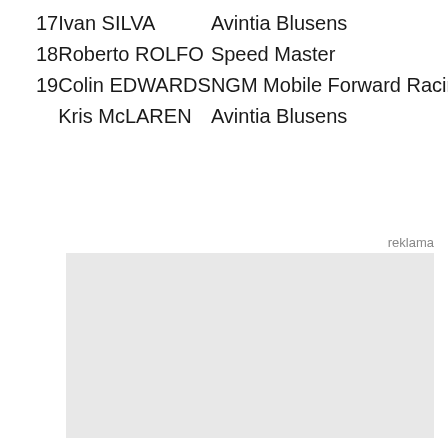| # | Rider | Team | Bike |
| --- | --- | --- | --- |
| 17 | Ivan SILVA | Avintia Blusens | BQR |
| 18 | Roberto ROLFO | Speed Master | ART |
| 19 | Colin EDWARDS | NGM Mobile Forward Racing | Suter |
|  | Kris McLAREN | Avintia Blusens | BQR |
reklama
[Figure (other): Gray advertisement placeholder box]